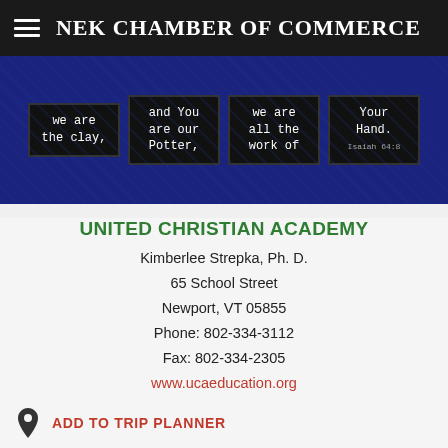NEK CHAMBER OF COMMERCE
[Figure (photo): Banner image with dark blue background and four text cards reading: 'we are the clay,' 'and You are our Potter,' 'we are all the work of' 'Your Hand.' (Isaiah 64:8)]
UNITED CHRISTIAN ACADEMY
Kimberlee Strepka, Ph. D.
65 School Street
Newport, VT 05855
Phone: 802-334-3112
Fax: 802-334-2305
www.ucaeducation.org
ADD TO TRIP PLANNER
United Christian Academy is a K-12 multi-denominal school providing Christian education to the Northeast Kingdom & beyond. UCA is a uniquely Protestant & Catholic collaboration